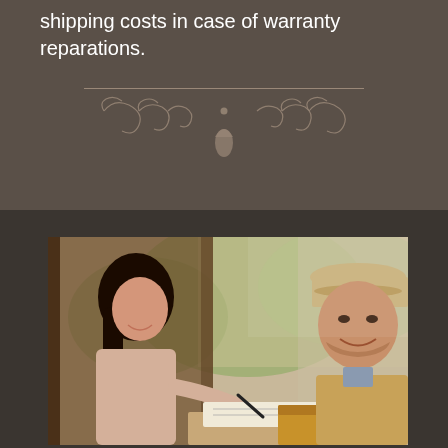shipping costs in case of warranty reparations.
[Figure (illustration): Decorative ornamental divider with scrollwork and a central teardrop/diamond shape beneath a horizontal line]
[Figure (photo): A smiling woman signing a document at her front door while a male delivery person in a beige vest and cap holds out a clipboard, with a cardboard package visible on a surface between them]